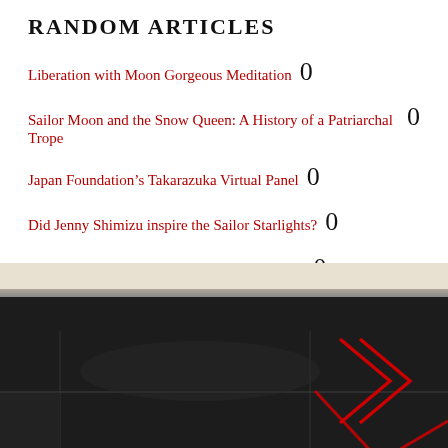RANDOM ARTICLES
Liberation with Moon Gorgeous Meditation 0
Sailor Moon and the Snow Queen: A History of a Patriarchal Trope 0
Japan Foundation’s Takarazuka Virtual Panel 0
Did Jenny Shimizu inspire the Sailor Starlights? 0
Japan Foundation’s Sailor Moon Virtual Panel 0
[Figure (photo): Photo of a dark keyboard or device surface with a cream/white ledge at top and red diagonal lines/chevrons in the upper right area. The text 'al' is visible in the lower left in light gray italic.]